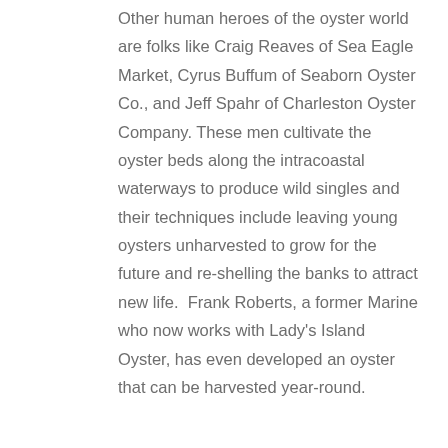Other human heroes of the oyster world are folks like Craig Reaves of Sea Eagle Market, Cyrus Buffum of Seaborn Oyster Co., and Jeff Spahr of Charleston Oyster Company. These men cultivate the oyster beds along the intracoastal waterways to produce wild singles and their techniques include leaving young oysters unharvested to grow for the future and re-shelling the banks to attract new life.  Frank Roberts, a former Marine who now works with Lady's Island Oyster, has even developed an oyster that can be harvested year-round.